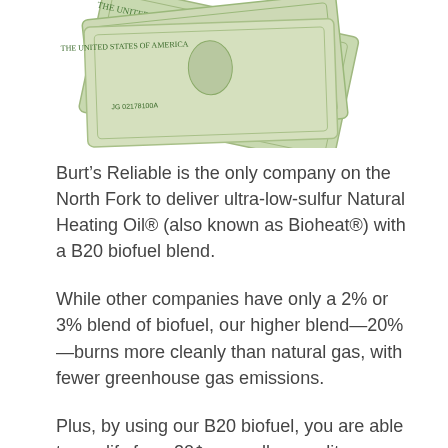[Figure (photo): Photo of fanned-out US dollar bills (10 and 100 dollar bills visible), shown from above on a white background.]
Burt’s Reliable is the only company on the North Fork to deliver ultra-low-sulfur Natural Heating Oil® (also known as Bioheat®) with a B20 biofuel blend.
While other companies have only a 2% or 3% blend of biofuel, our higher blend—20%—burns more cleanly than natural gas, with fewer greenhouse gas emissions.
Plus, by using our B20 biofuel, you are able to qualify for a 20¢-per-gallon credit on your New York State income taxes.
Burt’s Reliable customers who use 750 gallons of